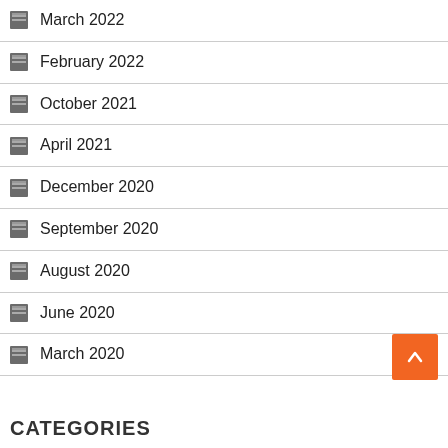March 2022
February 2022
October 2021
April 2021
December 2020
September 2020
August 2020
June 2020
March 2020
CATEGORIES